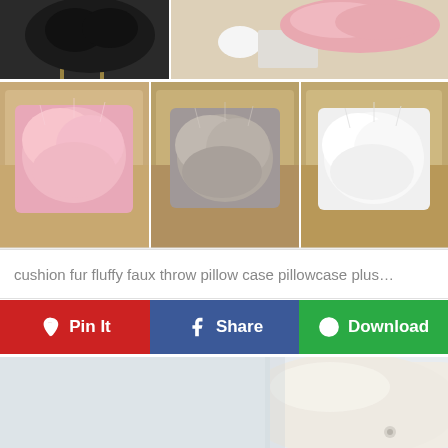[Figure (photo): Collage of fur/fluffy decorative pillows and cushions in various colors (black, pink, gray, white) displayed on chairs and sofas with beige/tan upholstery]
cushion fur fluffy faux throw pillow case pillowcase plus…
[Figure (infographic): Three action buttons: Pin It (red, Pinterest), Share (blue, Facebook), Download (green)]
[Figure (photo): Bottom portion of another image showing a white/cream colored rounded chair or furniture piece against a light background]